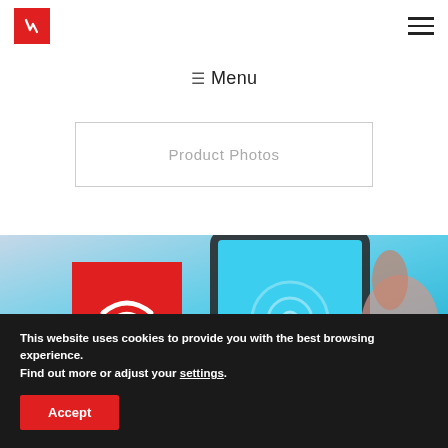[Figure (logo): Red square logo with white stylized R/checkmark icon in top-left]
[Figure (other): Hamburger menu icon (three horizontal lines) in top-right]
☰ Menu
Product Photos
[Figure (photo): Hand holding a smartphone with blue screen, overlaid with a red square containing a white WiFi symbol]
This website uses cookies to provide you with the best browsing experience.
Find out more or adjust your settings.
Accept